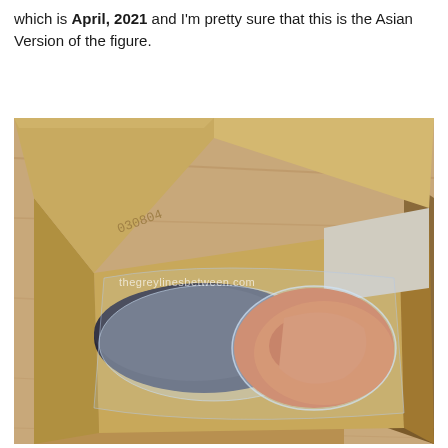which is April, 2021 and I'm pretty sure that this is the Asian Version of the figure.
[Figure (photo): Open cardboard box photographed from above on a wooden surface. The box lid is open and visible on the left side with the number '030804' stamped on the inner flap. Inside the box are items wrapped in clear plastic bags, including what appears to be orange/red components and dark-colored parts (possibly a figure). A watermark reads 'thegreylinesbetween.com' across the center of the image.]